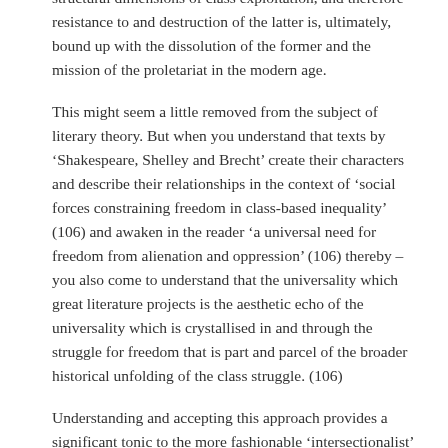and relations of racist oppression have grown out of the structural dimensions of class exploitation, and therefore resistance to and destruction of the latter is, ultimately, bound up with the dissolution of the former and the mission of the proletariat in the modern age.
This might seem a little removed from the subject of literary theory. But when you understand that texts by 'Shakespeare, Shelley and Brecht' create their characters and describe their relationships in the context of 'social forces constraining freedom in class-based inequality' (106) and awaken in the reader 'a universal need for freedom from alienation and oppression' (106) thereby – you also come to understand that the universality which great literature projects is the aesthetic echo of the universality which is crystallised in and through the struggle for freedom that is part and parcel of the broader historical unfolding of the class struggle. (106)
Understanding and accepting this approach provides a significant tonic to the more fashionable 'intersectionalist' approach which often ends up 'segregating' different groups into the boxes which